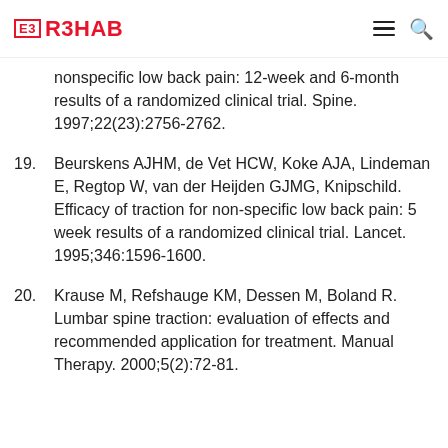E3 R3HAB
nonspecific low back pain: 12-week and 6-month results of a randomized clinical trial. Spine. 1997;22(23):2756-2762.
19. Beurskens AJHM, de Vet HCW, Koke AJA, Lindeman E, Regtop W, van der Heijden GJMG, Knipschild. Efficacy of traction for non-specific low back pain: 5 week results of a randomized clinical trial. Lancet. 1995;346:1596-1600.
20. Krause M, Refshauge KM, Dessen M, Boland R. Lumbar spine traction: evaluation of effects and recommended application for treatment. Manual Therapy. 2000;5(2):72-81.